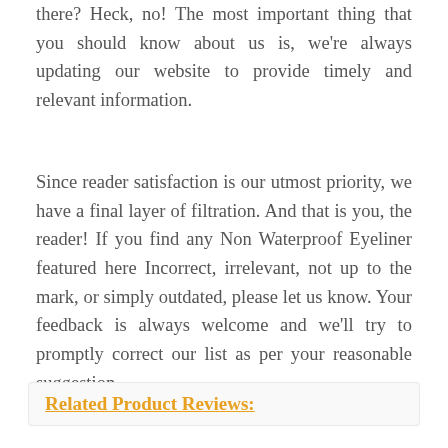there? Heck, no! The most important thing that you should know about us is, we're always updating our website to provide timely and relevant information.
Since reader satisfaction is our utmost priority, we have a final layer of filtration. And that is you, the reader! If you find any Non Waterproof Eyeliner featured here Incorrect, irrelevant, not up to the mark, or simply outdated, please let us know. Your feedback is always welcome and we'll try to promptly correct our list as per your reasonable suggestion.
Related Product Reviews: